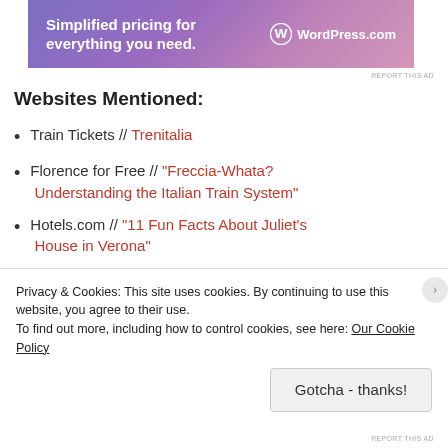[Figure (other): WordPress.com advertisement banner with gradient purple/pink background. Text: 'Simplified pricing for everything you need.' with WordPress.com logo.]
Websites Mentioned:
Train Tickets // Trenitalia
Florence for Free // "Freccia-Whata? Understanding the Italian Train System"
Hotels.com // "11 Fun Facts About Juliet's House in Verona"
The Telegraph // "Verona Commissions Replica 'Juliet' Statue After One Too Many Brushes
Privacy & Cookies: This site uses cookies. By continuing to use this website, you agree to their use.
To find out more, including how to control cookies, see here: Our Cookie Policy
Gotcha - thanks!